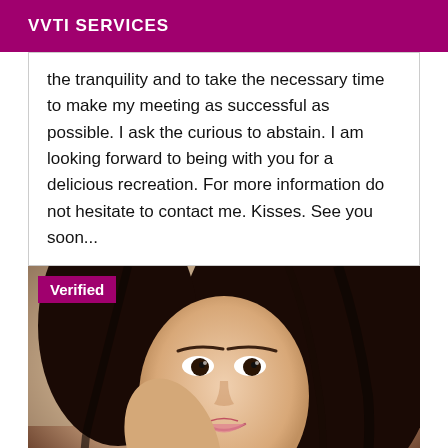VVTI SERVICES
the tranquility and to take the necessary time to make my meeting as successful as possible. I ask the curious to abstain. I am looking forward to being with you for a delicious recreation. For more information do not hesitate to contact me. Kisses. See you soon...
[Figure (photo): Portrait photo of a young Asian woman with dark hair, smiling, with a 'Verified' badge overlay in the top-left corner]